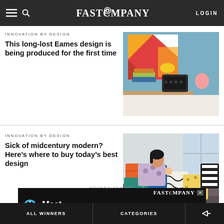FAST COMPANY — LOGIN
INNOVATION BY DESIGN
This long-lost Eames design is being produced for the first time
[Figure (photo): Desk scene with colorful artwork, yellow lamp, books, and a dark speaker/device on a wooden shelf against a blue wall]
INNOVATION BY DESIGN
Sick of midcentury modern? Here's where to buy today's best design
[Figure (photo): Person lounging on a dark sofa surrounded by many colorful decorative pillows]
ADVERTISEMENT
[Figure (screenshot): Fast Company advertisement banner with logo and Meet text]
ALL WINNERS | CATEGORIES | share